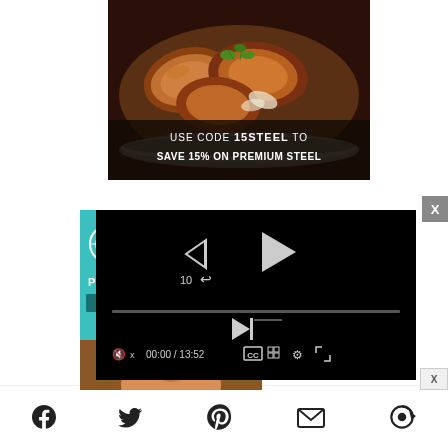[Figure (photo): Advertisement showing food (glazed meat) in a stainless steel pan with text overlay: USE CODE 15STEEL TO SAVE 15% ON PREMIUM STEEL]
[Figure (screenshot): Video player overlay showing media controls: rewind 10s button, play button, skip button, progress bar at 00:00 of 13:52, CC button, grid button, settings gear, fullscreen button. Close X button in top right corner.]
[Figure (photo): Teal/cyan colored card with circular logo and PA text and a button labeled B, partially visible. Person photo (woman with glasses smiling) partially visible below.]
[Figure (infographic): Social sharing bar at the bottom with icons for Facebook, Twitter, Pinterest, Email, and another share option]